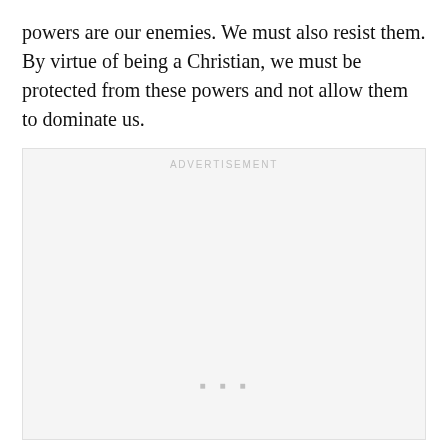powers are our enemies. We must also resist them. By virtue of being a Christian, we must be protected from these powers and not allow them to dominate us.
[Figure (other): Advertisement placeholder box with 'ADVERTISEMENT' label and three dots in the center-lower area.]